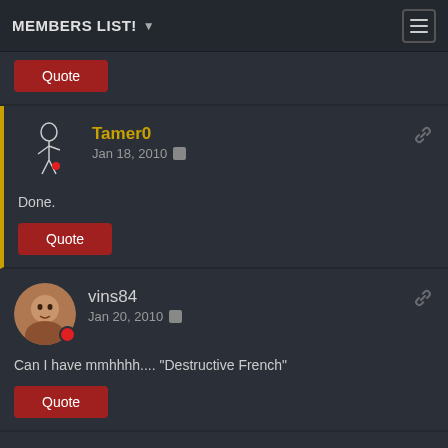MEMBERS LIST!
Quote
Tamer0
Jan 18, 2010
Done.
Quote
vins84
Jan 20, 2010
Can I have mmhhhh.... "Destructive French"
Quote